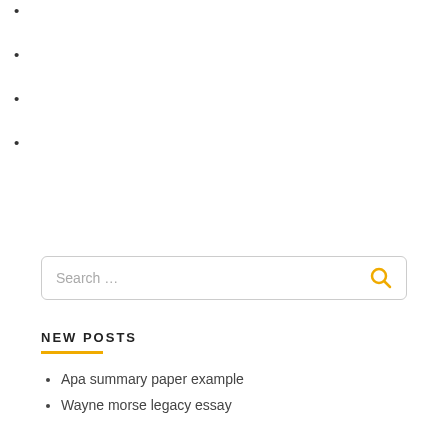Search …
NEW POSTS
Apa summary paper example
Wayne morse legacy essay